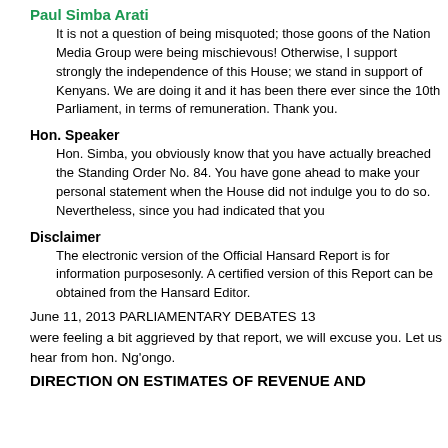Paul Simba Arati
It is not a question of being misquoted; those goons of the Nation Media Group were being mischievous! Otherwise, I support strongly the independence of this House; we stand in support of Kenyans. We are doing it and it has been there ever since the 10th Parliament, in terms of remuneration. Thank you.
Hon. Speaker
Hon. Simba, you obviously know that you have actually breached the Standing Order No. 84. You have gone ahead to make your personal statement when the House did not indulge you to do so. Nevertheless, since you had indicated that you
Disclaimer
The electronic version of the Official Hansard Report is for information purposesonly. A certified version of this Report can be obtained from the Hansard Editor.
June 11, 2013 PARLIAMENTARY DEBATES 13
were feeling a bit aggrieved by that report, we will excuse you. Let us hear from hon. Ng'ongo.
DIRECTION ON ESTIMATES OF REVENUE AND